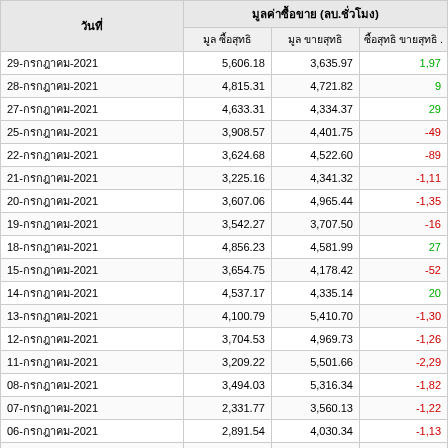| วันที่ | มูลค่าซื้อ (ลบ.ชั่วโมง) |  |  |
| --- | --- | --- | --- |
| 29-กรกฎาคม-2021 | 5,606.18 | 3,635.97 | 1,97 |
| 28-กรกฎาคม-2021 | 4,815.31 | 4,721.82 | 9 |
| 27-กรกฎาคม-2021 | 4,633.31 | 4,334.37 | 29 |
| 25-กรกฎาคม-2021 | 3,908.57 | 4,401.75 | -49 |
| 22-กรกฎาคม-2021 | 3,624.68 | 4,522.60 | -89 |
| 21-กรกฎาคม-2021 | 3,225.16 | 4,341.32 | -1,11 |
| 20-กรกฎาคม-2021 | 3,607.06 | 4,965.44 | -1,35 |
| 19-กรกฎาคม-2021 | 3,542.27 | 3,707.50 | -16 |
| 18-กรกฎาคม-2021 | 4,856.23 | 4,581.99 | 27 |
| 15-กรกฎาคม-2021 | 3,654.75 | 4,178.42 | -52 |
| 14-กรกฎาคม-2021 | 4,537.17 | 4,335.14 | 20 |
| 13-กรกฎาคม-2021 | 4,100.79 | 5,410.70 | -1,30 |
| 12-กรกฎาคม-2021 | 3,704.53 | 4,969.73 | -1,26 |
| 11-กรกฎาคม-2021 | 3,209.22 | 5,501.66 | -2,29 |
| 08-กรกฎาคม-2021 | 3,494.03 | 5,316.34 | -1,82 |
| 07-กรกฎาคม-2021 | 2,331.77 | 3,560.13 | -1,22 |
| 06-กรกฎาคม-2021 | 2,891.54 | 4,030.34 | -1,13 |
| 05-กรกฎาคม-2021 | 2,351.57 | 3,652.78 | -1,30 |
| 04-กรกฎาคม-2021 | 1,577.76 | 2,742.98 | -1,16 |
| 01-กรกฎาคม-2021 | 2,101.98 | 1,843.25 | 25 |